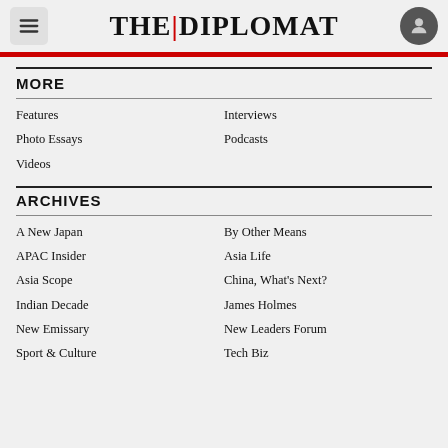THE|DIPLOMAT
MORE
Features
Interviews
Photo Essays
Podcasts
Videos
ARCHIVES
A New Japan
By Other Means
APAC Insider
Asia Life
Asia Scope
China, What's Next?
Indian Decade
James Holmes
New Emissary
New Leaders Forum
Sport & Culture
Tech Biz